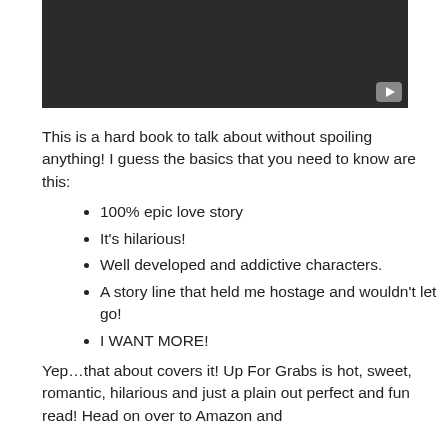[Figure (screenshot): Dark/black video player thumbnail with a YouTube-style play button in the bottom-right corner]
This is a hard book to talk about without spoiling anything! I guess the basics that you need to know are this:
100% epic love story
It's hilarious!
Well developed and addictive characters.
A story line that held me hostage and wouldn't let go!
I WANT MORE!
Yep…that about covers it! Up For Grabs is hot, sweet, romantic, hilarious and just a plain out perfect and fun read! Head on over to Amazon and